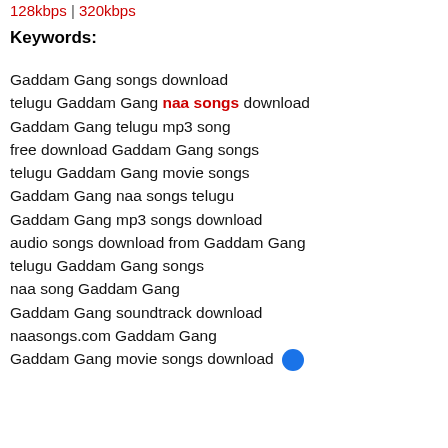128kbps | 320kbps
Keywords:
Gaddam Gang songs download
telugu Gaddam Gang naa songs download
Gaddam Gang telugu mp3 song
free download Gaddam Gang songs
telugu Gaddam Gang movie songs
Gaddam Gang naa songs telugu
Gaddam Gang mp3 songs download
audio songs download from Gaddam Gang
telugu Gaddam Gang songs
naa song Gaddam Gang
Gaddam Gang soundtrack download
naasongs.com Gaddam Gang
Gaddam Gang movie songs download